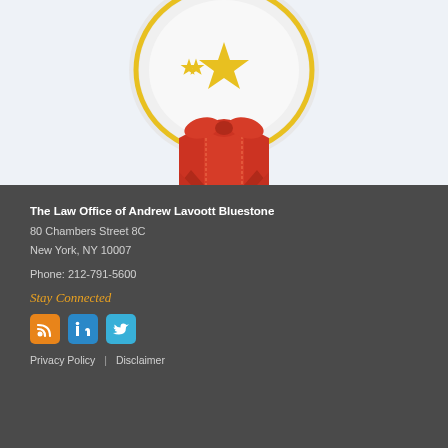[Figure (illustration): Award ribbon/medal illustration with gold stars and red ribbon/bow at the bottom, on a light blue background]
The Law Office of Andrew Lavoott Bluestone
80 Chambers Street 8C
New York, NY 10007

Phone: 212-791-5600
Stay Connected
[Figure (other): Three social media icon buttons: RSS (orange), LinkedIn (blue), Twitter (light blue)]
Privacy Policy  |  Disclaimer